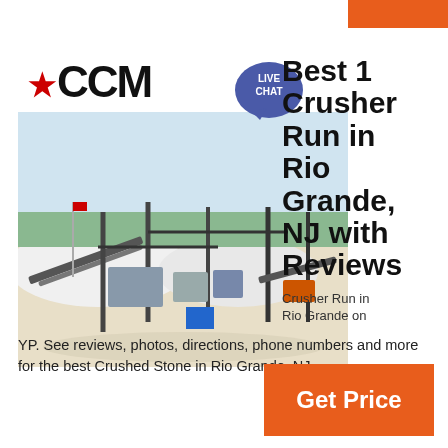[Figure (photo): Orange decorative bar at top right corner]
[Figure (logo): CCM logo with red star, black bold text on white background above a photo of an industrial crusher/quarry operation site]
Best 1 Crusher Run in Rio Grande, NJ with Reviews
[Figure (illustration): Live Chat speech bubble icon in dark blue/purple with text LIVE CHAT]
Crusher Run in Rio Grande on YP. See reviews, photos, directions, phone numbers and more for the best Crushed Stone in Rio Grande, NJ.
Get Price